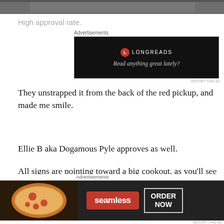[Figure (photo): Partial photo strip at top of page, showing an indistinct scene]
High approval rate.
[Figure (screenshot): Longreads advertisement banner with black background reading 'Read anything great lately?']
They unstrapped it from the back of the red pickup, and made me smile.
Ellie B aka Dogamous Pyle approves as well.
All signs are pointing toward a big cookout, as you'll see in the next few days, too.
What's your favorite type of grill, and why?
[Figure (screenshot): Seamless advertisement banner with pizza photo, red Seamless logo, and ORDER NOW button]